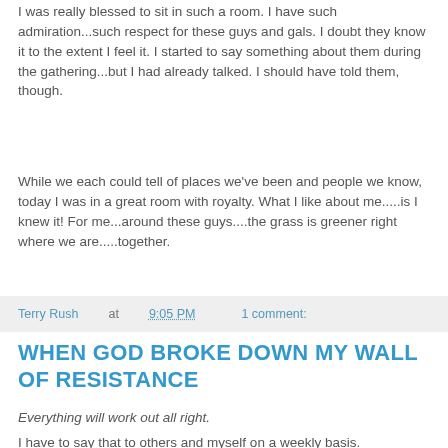I was really blessed to sit in such a room. I have such admiration...such respect for these guys and gals. I doubt they know it to the extent I feel it. I started to say something about them during the gathering...but I had already talked. I should have told them, though.
While we each could tell of places we've been and people we know, today I was in a great room with royalty. What I like about me.....is I knew it! For me...around these guys....the grass is greener right where we are.....together.
Terry Rush at 9:05 PM    1 comment:
WHEN GOD BROKE DOWN MY WALL OF RESISTANCE
Everything will work out all right.
I have to say that to others and myself on a weekly basis. Challenges, conflicts, and perpetual distresses pound